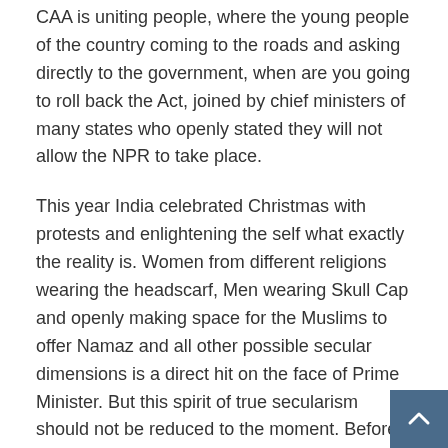CAA is uniting people, where the young people of the country coming to the roads and asking directly to the government, when are you going to roll back the Act, joined by chief ministers of many states who openly stated they will not allow the NPR to take place.
This year India celebrated Christmas with protests and enlightening the self what exactly the reality is. Women from different religions wearing the headscarf, Men wearing Skull Cap and openly making space for the Muslims to offer Namaz and all other possible secular dimensions is a direct hit on the face of Prime Minister. But this spirit of true secularism should not be reduced to the moment. Before going for the protest, we should self reflect, yes we were stereotypical about the skull cap, the guy who was offering namaz, the man with a long beard, the women wearing hijabs. Those were just stereotypes that should be eliminated from our minds. Every other way of